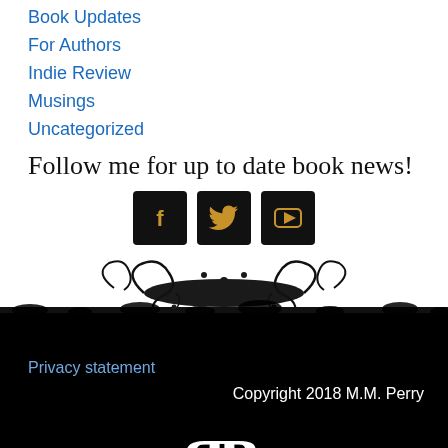Book Updates
For Authors
Indie Review
Musings
Uncategorized
Follow me for up to date book news!
[Figure (infographic): Social media buttons: Facebook (f), Twitter (bird), YouTube (play triangle), all with dark/black background and gold icons]
[Figure (illustration): Decorative floral/vine border with dark grunge texture at the bottom transitioning to black footer]
Privacy statement
Copyright 2018 M.M. Perry
[Figure (logo): RB logo in white on black background, stylized reversed R and B letters]